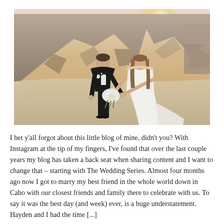[Figure (photo): A wedding photo of a couple holding hands on a sandy beach with large rocky cliffs in the background and sunlight glowing from behind the rocks. The groom wears a black tuxedo with bow tie and boutonniere; the bride wears a white fitted gown and holds a white bouquet.]
I bet y'all forgot about this little blog of mine, didn't you? With Instagram at the tip of my fingers, I've found that over the last couple years my blog has taken a back seat when sharing content and I want to change that – starting with The Wedding Series. Almost four months ago now I got to marry my best friend in the whole world down in Cabo with our closest friends and family there to celebrate with us. To say it was the best day (and week) ever, is a huge understatement. Hayden and I had the time [...]